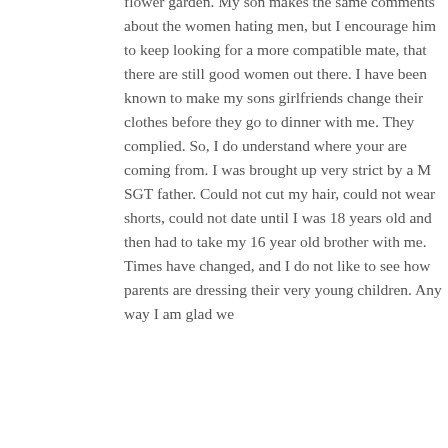flower garden. My son makes the same comments about the women hating men, but I encourage him to keep looking for a more compatible mate, that there are still good women out there. I have been known to make my sons girlfriends change their clothes before they go to dinner with me. They complied. So, I do understand where your are coming from. I was brought up very strict by a M SGT father. Could not cut my hair, could not wear shorts, could not date until I was 18 years old and then had to take my 16 year old brother with me. Times have changed, and I do not like to see how parents are dressing their very young children. Any way I am glad we